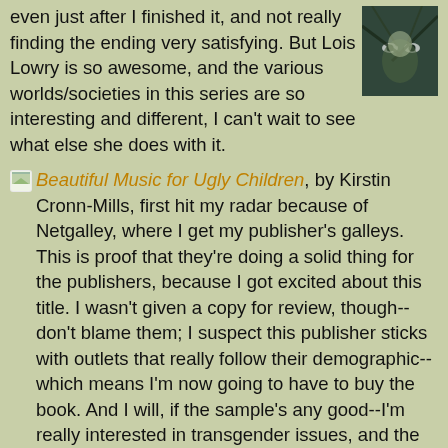even just after I finished it, and not really finding the ending very satisfying.  But Lois Lowry is so awesome, and the various worlds/societies in this series are so interesting and different, I can't wait to see what else she does with it.
[Figure (photo): Small book cover image in the top-right corner showing a dark illustration with eyes visible through trees or branches]
Beautiful Music for Ugly Children, by Kirstin Cronn-Mills, first hit my radar because of Netgalley, where I get my publisher's galleys.  This is proof that they're doing a solid thing for the publishers, because I got excited about this title.  I wasn't given a copy for review, though--don't blame them; I suspect this publisher sticks with outlets that really follow their demographic--which means I'm now going to have to buy the book.  And I will, if the sample's any good--I'm really interested in transgender issues, and the description makes this sound like a sad, hopeful novel.
Whenever I do one of these, it seems to be mostly sequels.  I guess it's partly because everyone's writing sequels these days, and partly because I mostly get excited about a book because I've read the author before.  Still, I am just drowning